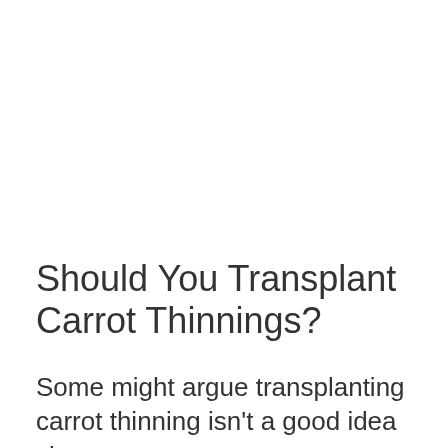Should You Transplant Carrot Thinnings?
Some might argue transplanting carrot thinning isn't a good idea since